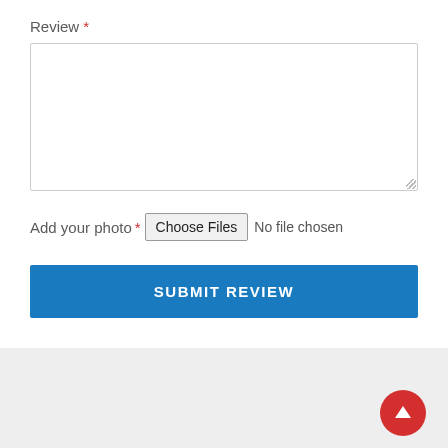Review *
[Figure (screenshot): Empty textarea input field for review text]
Add your photo * Choose Files No file chosen
SUBMIT REVIEW
[Figure (infographic): Red circular scroll-to-top button with upward arrow]
FAST DELIVERY — Shipped out in 24 hours